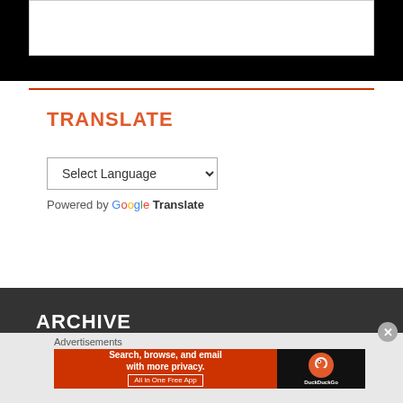TRANSLATE
Select Language
Powered by Google Translate
ARCHIVE
Select Month
Advertisements
[Figure (screenshot): DuckDuckGo advertisement banner: 'Search, browse, and email with more privacy. All in One Free App' with DuckDuckGo logo]